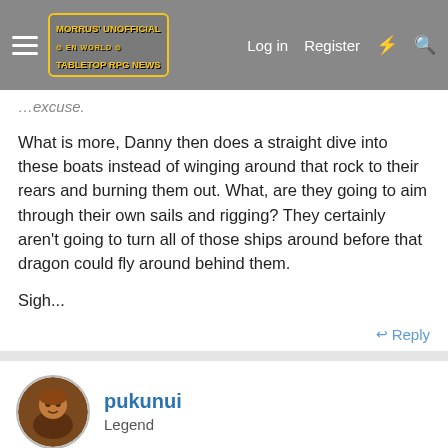Morrus' Unofficial Tabletop RPG News — Log in | Register
excuse.
What is more, Danny then does a straight dive into these boats instead of winging around that rock to their rears and burning them out. What, are they going to aim through their own sails and rigging? They certainly aren't going to turn all of those ships around before that dragon could fly around behind them.
Sigh...
Reply
pukunui
Legend